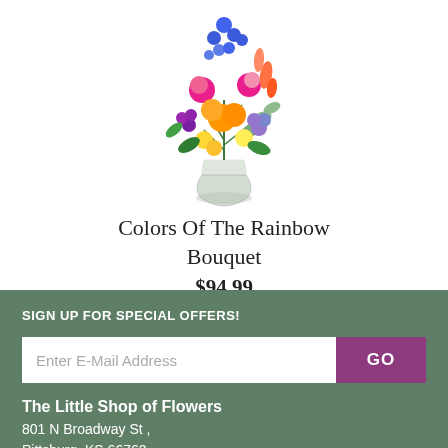[Figure (photo): A colorful floral bouquet in a glass vase featuring blue delphiniums, pink roses, orange lilies, purple flowers, yellow roses, and green foliage on a white background.]
Colors Of The Rainbow Bouquet
$94.99
SIGN UP FOR SPECIAL OFFERS!
Enter E-Mail Address
GO
The Little Shop of Flowers
801 N Broadway St ,
Pittsburg, KS 66762